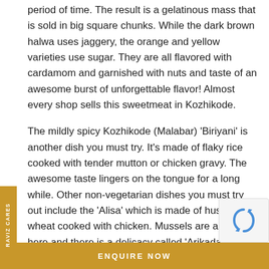period of time. The result is a gelatinous mass that is sold in big square chunks. While the dark brown halwa uses jaggery, the orange and yellow varieties use sugar. They are all flavored with cardamom and garnished with nuts and taste of an awesome burst of unforgettable flavor! Almost every shop sells this sweetmeat in Kozhikode.
The mildly spicy Kozhikode (Malabar) 'Biriyani' is another dish you must try. It's made of flaky rice cooked with tender mutton or chicken gravy. The awesome taste lingers on the tongue for a long while. Other non-vegetarian dishes you must try out include the 'Alisa' which is made of husked wheat cooked with chicken. Mussels are a favorite here and there is a delicacy called 'Arikadaka' which is worth trying out. It's made of rice flour cooked with mussels in their shells.
For vegetarian fare, there is the famous 'Sadya'. This is a full-fledged feast consisting of rice, sambhar, rasam, pickles, pappadams and 7 different side-dishes bursting with fla… This hearty meal fit for a king is rounded off with a delicio…
ENQUIRE NOW